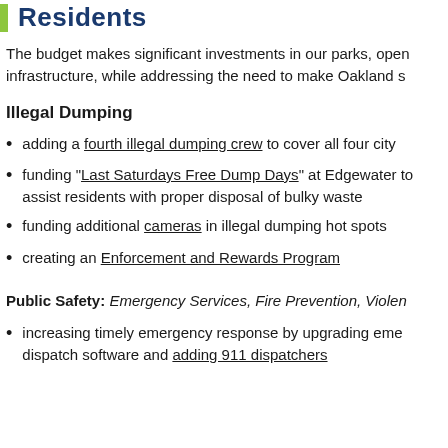Residents
The budget makes significant investments in our parks, open infrastructure, while addressing the need to make Oakland s
Illegal Dumping
adding a fourth illegal dumping crew to cover all four city
funding "Last Saturdays Free Dump Days" at Edgewater to assist residents with proper disposal of bulky waste
funding additional cameras in illegal dumping hot spots
creating an Enforcement and Rewards Program
Public Safety: Emergency Services, Fire Prevention, Violen
increasing timely emergency response by upgrading eme dispatch software and adding 911 dispatchers